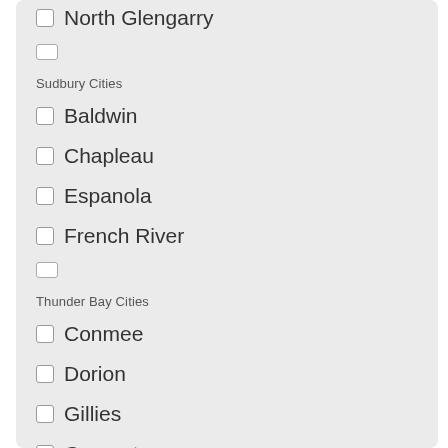North Glengarry
Sudbury Cities
Baldwin
Chapleau
Espanola
French River
Thunder Bay Cities
Conmee
Dorion
Gillies
Greenstone
Timiskaming Cities